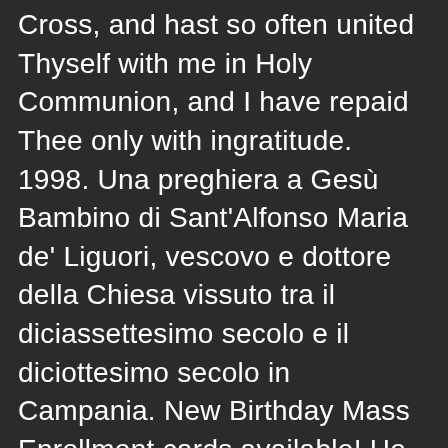Cross, and hast so often united Thyself with me in Holy Communion, and I have repaid Thee only with ingratitude. 1998. Una preghiera a Gesù Bambino di Sant'Alfonso Maria de' Liguori, vescovo e dottore della Chiesa vissuto tra il diciassettesimo secolo e il diciottesimo secolo in Campania. New Birthday Mass Enrollment cards available! He became a lawyer before reaching age 20,composed music and painted, drew large crowds with his preaching, and wrote more than 100 books. The clock of the passion of Our Lord Jesus Christ: with considerations on the passion - Liguori, Alfonso Maria de', Saint, 1696-1787. Crowe could fix things – even broken hearts, Rev. dies unexpectedly, Rev. Novena di Natale con